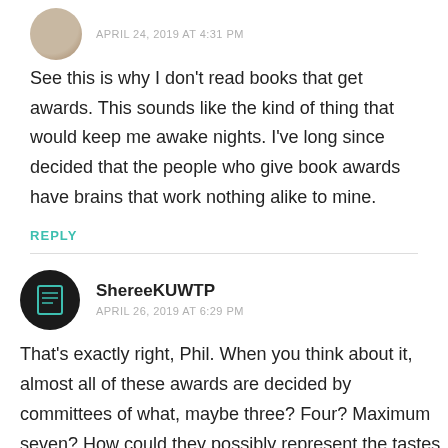APRIL 24, 2019 AT 4:31 PM
See this is why I don't read books that get awards. This sounds like the kind of thing that would keep me awake nights. I've long since decided that the people who give book awards have brains that work nothing alike to mine.
REPLY
ShereeKUWTP
APRIL 26, 2019 AT 6:29 PM
That's exactly right, Phil. When you think about it, almost all of these awards are decided by committees of what, maybe three? Four? Maximum seven? How could they possibly represent the tastes and interests and values of 7 billion readers? Really, picking an award winner for